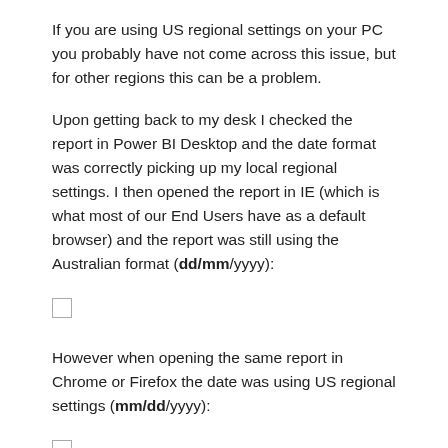If you are using US regional settings on your PC you probably have not come across this issue, but for other regions this can be a problem.
Upon getting back to my desk I checked the report in Power BI Desktop and the date format was correctly picking up my local regional settings. I then opened the report in IE (which is what most of our End Users have as a default browser) and the report was still using the Australian format (dd/mm/yyyy):
[Figure (other): Small empty checkbox / image placeholder square]
However when opening the same report in Chrome or Firefox the date was using US regional settings (mm/dd/yyyy):
[Figure (other): Small empty checkbox / image placeholder square]